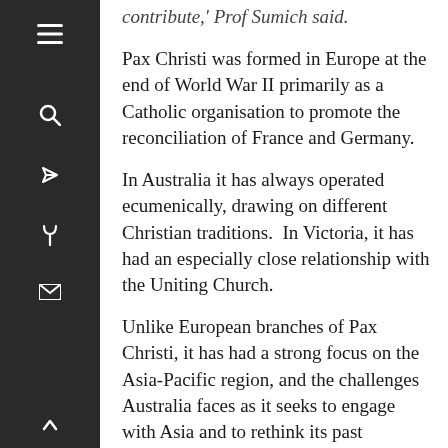contribute,' Prof Sumich said.
Pax Christi was formed in Europe at the end of World War II primarily as a Catholic organisation to promote the reconciliation of France and Germany.
In Australia it has always operated ecumenically, drawing on different Christian traditions.  In Victoria, it has had an especially close relationship with the Uniting Church.
Unlike European branches of Pax Christi, it has had a strong focus on the Asia-Pacific region, and the challenges Australia faces as it seeks to engage with Asia and to rethink its past dependence on ‘great and powerful friends’, first Britain and more